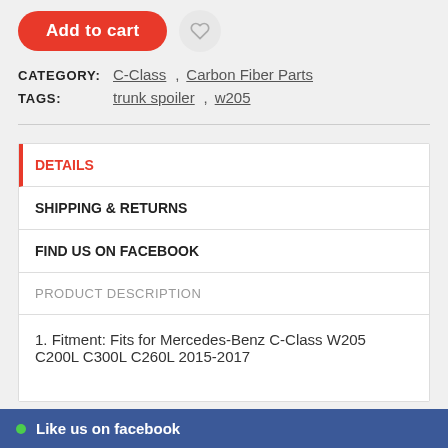Add to cart
CATEGORY: C-Class , Carbon Fiber Parts
TAGS: trunk spoiler , w205
DETAILS
SHIPPING & RETURNS
FIND US ON FACEBOOK
PRODUCT DESCRIPTION
1. Fitment: Fits for Mercedes-Benz C-Class W205 C200L C300L C260L 2015-2017
Like us on facebook